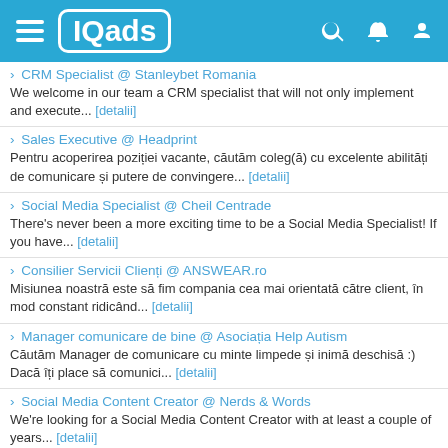IQads
CRM Specialist @ Stanleybet Romania — We welcome in our team a CRM specialist that will not only implement and execute... [detalii]
Sales Executive @ Headprint — Pentru acoperirea poziției vacante, căutăm coleg(ă) cu excelente abilități de comunicare și putere de convingere... [detalii]
Social Media Specialist @ Cheil Centrade — There's never been a more exciting time to be a Social Media Specialist! If you have... [detalii]
Consilier Servicii Clienți @ ANSWEAR.ro — Misiunea noastră este să fim compania cea mai orientată către client, în mod constant ridicând... [detalii]
Manager comunicare de bine @ Asociația Help Autism — Căutăm Manager de comunicare cu minte limpede și inimă deschisă :) Dacă îți place să comunici... [detalii]
Social Media Content Creator @ Nerds & Words — We're looking for a Social Media Content Creator with at least a couple of years... [detalii]
Traffic Manager @ McCann PR — Cautam un Traffic Manager pentru echipa McCann PR... [detalii]
Senior Art @ Marks — Dacă ești Senior Art (cu minimum 5 ani de experiență în agenție de creație) și... [detalii]